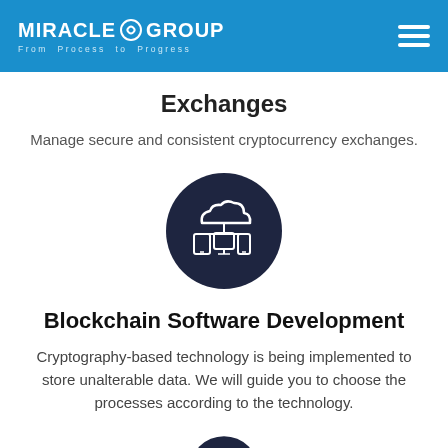MIRACLE GROUP — From Process to Progress
Exchanges
Manage secure and consistent cryptocurrency exchanges.
[Figure (illustration): Dark navy circle icon containing a white cloud connected to three device screens (tablet, monitor, mobile) below it, representing cloud/network connectivity.]
Blockchain Software Development
Cryptography-based technology is being implemented to store unalterable data. We will guide you to choose the processes according to the technology.